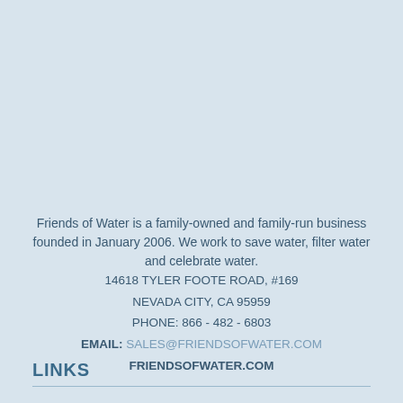Friends of Water is a family-owned and family-run business founded in January 2006. We work to save water, filter water and celebrate water.
14618 TYLER FOOTE ROAD, #169
NEVADA CITY, CA 95959
PHONE: 866 - 482 - 6803
EMAIL: SALES@FRIENDSOFWATER.COM
FRIENDSOFWATER.COM
LINKS